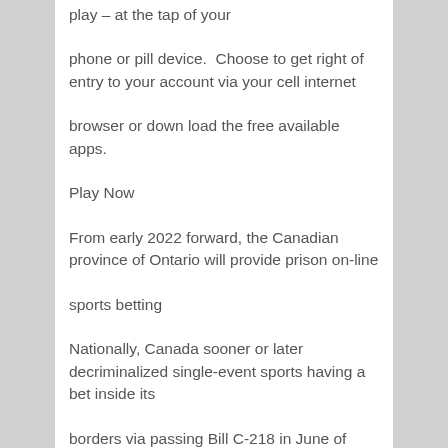play – at the tap of your
phone or pill device.  Choose to get right of entry to your account via your cell internet
browser or down load the free available apps.
Play Now
From early 2022 forward, the Canadian province of Ontario will provide prison on-line
sports betting
Nationally, Canada sooner or later decriminalized single-event sports having a bet inside its
borders via passing Bill C-218 in June of 2021. In Canada, the provinces regulate
gaming. Most provinces have virtually moved to alter their sports activities having a bet offerings